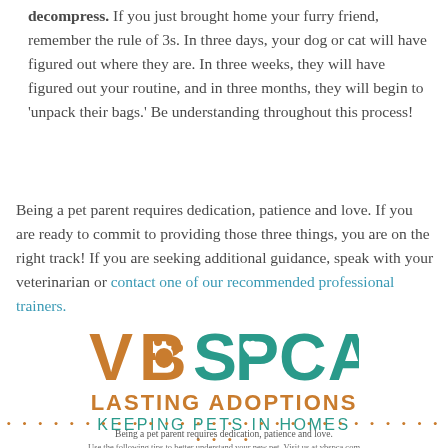decompress. If you just brought home your furry friend, remember the rule of 3s. In three days, your dog or cat will have figured out where they are. In three weeks, they will have figured out your routine, and in three months, they will begin to 'unpack their bags.' Be understanding throughout this process!
Being a pet parent requires dedication, patience and love. If you are ready to commit to providing those three things, you are on the right track! If you are seeking additional guidance, speak with your veterinarian or contact one of our recommended professional trainers.
[Figure (logo): VBSPCA logo with paw print in VB (orange) and heart in SPCA (teal), followed by 'LASTING ADOPTIONS' in orange and 'KEEPING PETS IN HOMES' in teal]
Being a pet parent requires dedication, patience and love.